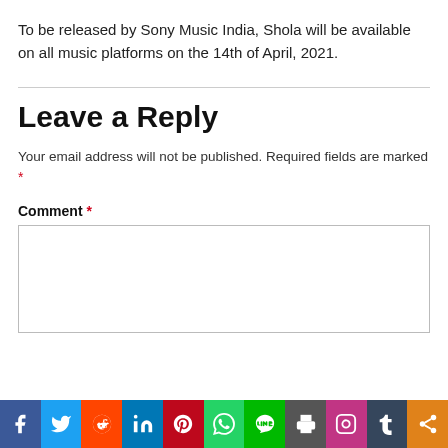To be released by Sony Music India, Shola will be available on all music platforms on the 14th of April, 2021.
Leave a Reply
Your email address will not be published. Required fields are marked *
Comment *